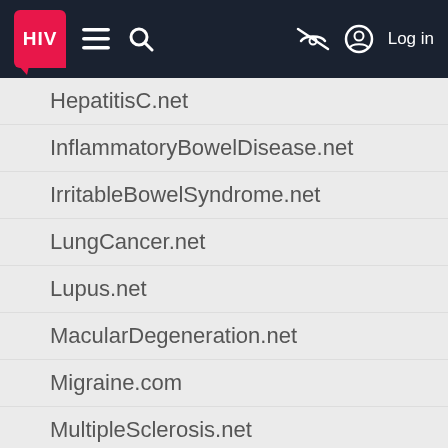HIV [logo] — navigation bar with menu, search, visibility off, log in
HepatitisC.net
InflammatoryBowelDisease.net
IrritableBowelSyndrome.net
LungCancer.net
Lupus.net
MacularDegeneration.net
Migraine.com
MultipleSclerosis.net
Myasthenia-Gravis.com
Neuromyelitis-Optica.net
ParkinsonsDisease.net
PlaquePsoriasis.com